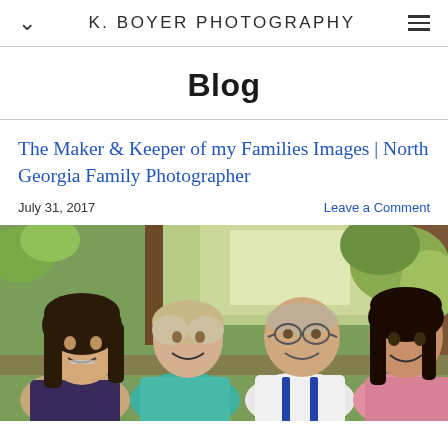K. BOYER PHOTOGRAPHY
Blog
The Maker & Keeper of my Families Images | North Georgia Family Photographer
July 31, 2017
Leave a Comment
[Figure (photo): Family portrait of four people smiling outdoors: a teenage girl with braces on the left, an older woman in a teal shirt, an older man in a white shirt with suspenders, and a teenage girl in a pink top on the right. Outdoor setting with greenery and wooden structure in background.]